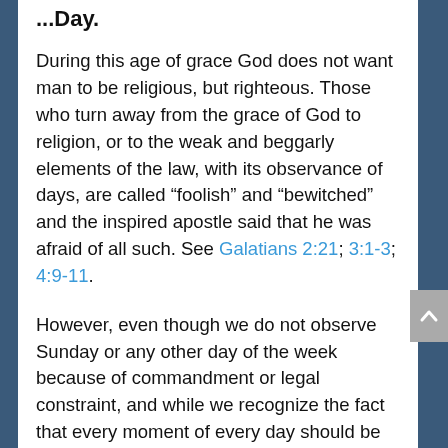...Lord's Day.
During this age of grace God does not want man to be religious, but righteous. Those who turn away from the grace of God to religion, or to the weak and beggarly elements of the law, with its observance of days, are called “foolish” and “bewitched” and the inspired apostle said that he was afraid of all such. See Galatians 2:21; 3:1-3; 4:9-11.
However, even though we do not observe Sunday or any other day of the week because of commandment or legal constraint, and while we recognize the fact that every moment of every day should be dedicated to the Lord, yet we do praise Him that we live in a land where we are